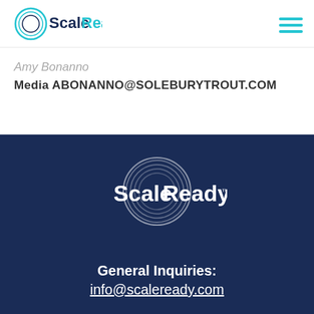[Figure (logo): ScaleReady logo with circular graphic and teal/navy text in navigation bar]
Amy Bonanno
Media ABONANNO@SOLEBURYTROUT.COM
[Figure (logo): ScaleReady white logo on dark navy background]
General Inquiries:
info@scaleready.com